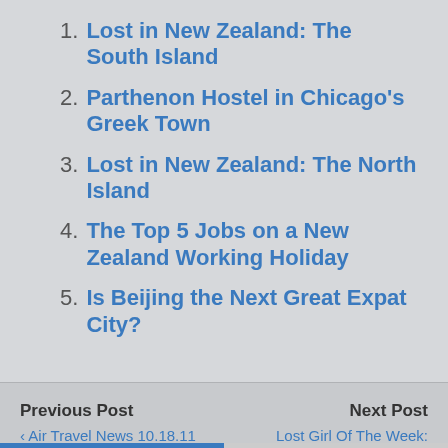1. Lost in New Zealand: The South Island
2. Parthenon Hostel in Chicago's Greek Town
3. Lost in New Zealand: The North Island
4. The Top 5 Jobs on a New Zealand Working Holiday
5. Is Beijing the Next Great Expat City?
Previous Post
‹ Air Travel News 10.18.11
Next Post
Lost Girl Of The Week: Christine Amorose ›
⌃ Back to top